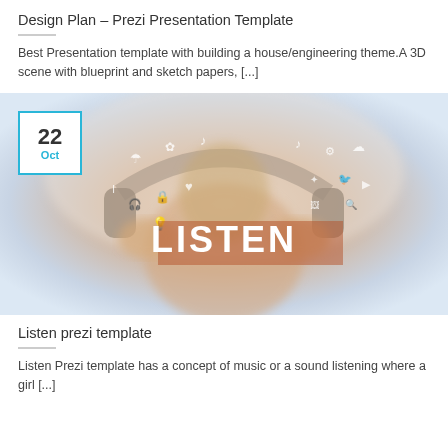Design Plan – Prezi Presentation Template
Best Presentation template with building a house/engineering theme.A 3D scene with blueprint and sketch papers, [...]
[Figure (photo): Person holding large headphones up to face with 'LISTEN' text overlay and social media icons floating around. Date badge showing '22 Oct' in top left corner.]
Listen prezi template
Listen Prezi template has a concept of music or a sound listening where a girl [...]